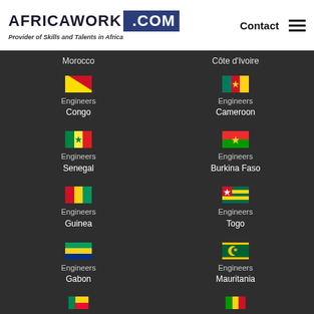AFRICAWORK .COM — Provider of Skills and Talents in Africa | Contact
Morocco
Côte d'Ivoire
[Figure (illustration): Congo flag]
Engineers Congo
[Figure (illustration): Cameroon flag]
Engineers Cameroon
[Figure (illustration): Senegal flag]
Engineers Senegal
[Figure (illustration): Burkina Faso flag]
Engineers Burkina Faso
[Figure (illustration): Guinea flag]
Engineers Guinea
[Figure (illustration): Togo flag]
Engineers Togo
[Figure (illustration): Gabon flag]
Engineers Gabon
[Figure (illustration): Mauritania flag]
Engineers Mauritania
[Figure (illustration): Benin flag (partial)]
[Figure (illustration): Mali flag (partial)]